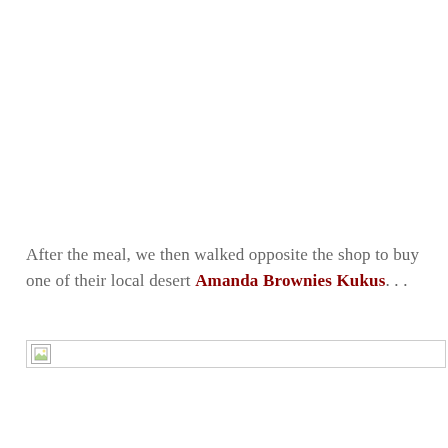After the meal, we then walked opposite the shop to buy one of their local desert Amanda Brownies Kukus...
[Figure (photo): Broken/missing image placeholder with small image icon on the left side]